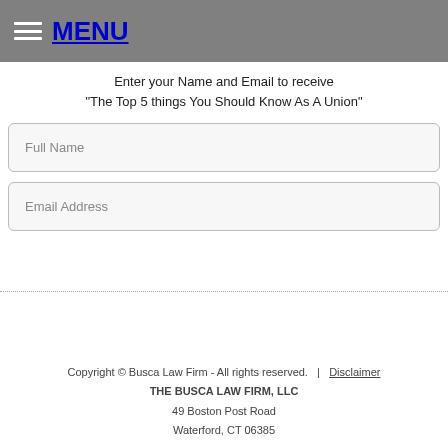MENU
Enter your Name and Email to receive "The Top 5 things You Should Know As A Union"
Full Name
Email Address
Copyright © Busca Law Firm - All rights reserved.  |  Disclaimer
THE BUSCA LAW FIRM, LLC
49 Boston Post Road
Waterford, CT 06385